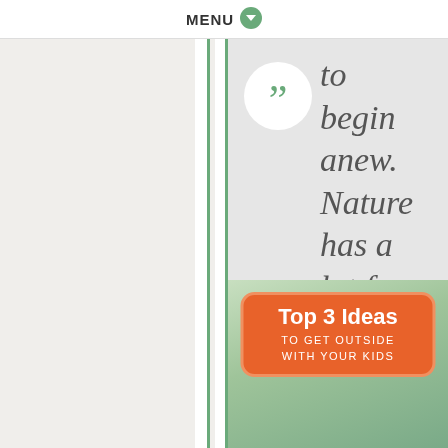MENU
to begin anew. Nature has a lot for us to learn.
[Figure (illustration): Orange rounded-rectangle badge with yellow border on a green leafy background reading 'Top 3 Ideas to Get Outside with Your Kids']